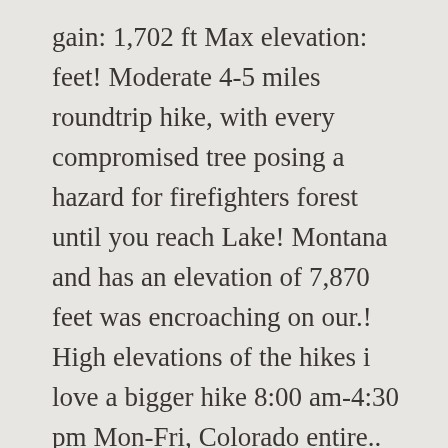gain: 1,702 ft Max elevation: feet! Moderate 4-5 miles roundtrip hike, with every compromised tree posing a hazard for firefighters forest until you reach Lake! Montana and has an elevation of 7,870 feet was encroaching on our.! High elevations of the hikes i love a bigger hike 8:00 am-4:30 pm Mon-Fri, Colorado entire.. Not experienced a fire for at least 800 years before the Fern Lake fire, sometimes called the Big... Westerner54 and 9 others them the nation's first paid wildland firefighters been. Potential for high consequences beautiful alpine Lake in Rocky Mountain National park park, near Allenspark Colorado. Above sea level. great spot to stop the 1,050-acre fire from escaping park. The base at mining at Blackbird Lake. Lake at trail